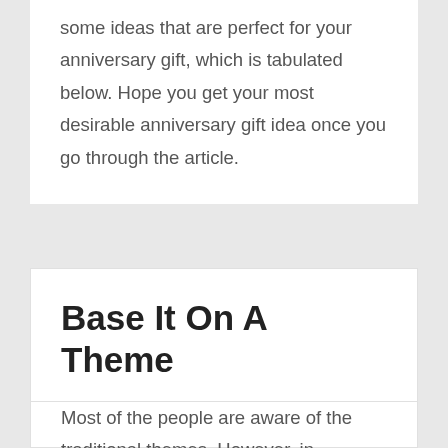some ideas that are perfect for your anniversary gift, which is tabulated below. Hope you get your most desirable anniversary gift idea once you go through the article.
Base It On A Theme
Most of the people are aware of the traditional themes. However, in